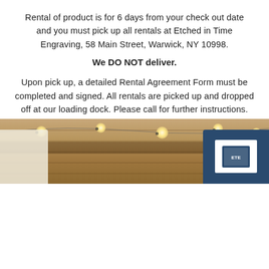Rental of product is for 6 days from your check out date and you must pick up all rentals at Etched in Time Engraving, 58 Main Street, Warwick, NY 10998.
We DO NOT deliver.
Upon pick up, a detailed Rental Agreement Form must be completed and signed. All rentals are picked up and dropped off at our loading dock. Please call for further instructions.
Please call our shop at 845-986-7557 during regular business hours to discuss any and all questions or concerns!
Share   Tweet   Pin it
[Figure (photo): Photo of a rustic wooden plank wall with string lights and a blue sign, visible at the bottom of the page.]